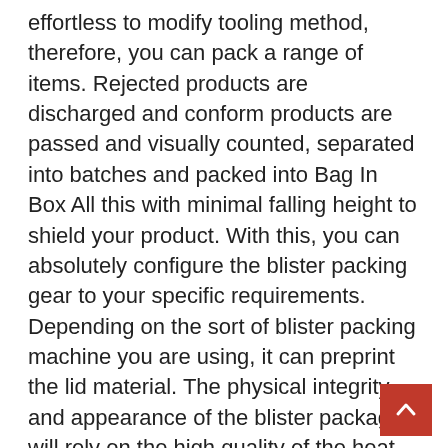effortless to modify tooling method, therefore, you can pack a range of items. Rejected products are discharged and conform products are passed and visually counted, separated into batches and packed into Bag In Box All this with minimal falling height to shield your product. With this, you can absolutely configure the blister packing gear to your specific requirements. Depending on the sort of blister packing machine you are using, it can preprint the lid material. The physical integrity and appearance of the blister package will rely on the high quality of the heat seal coating. You can choose the suppliers as per your requirements after browsing the listings of Blister Packaging Machines suppliers. 4